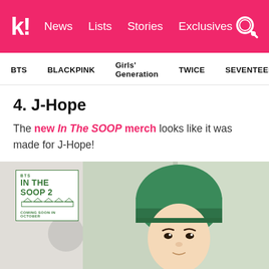k! News  Lists  Stories  Exclusives
BTS  BLACKPINK  Girls' Generation  TWICE  SEVENTEEN
4. J-Hope
The new In The SOOP merch looks like it was made for J-Hope!
[Figure (photo): Photo of J-Hope wearing a green beanie hat and black shirt, with an In The SOOP 2 Coming Soon in October logo overlay in the top-left corner]